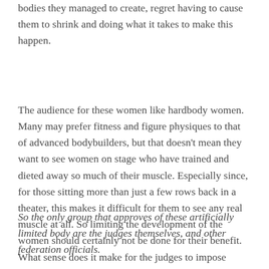bodies they managed to create, regret having to cause them to shrink and doing what it takes to make this happen.
The audience for these women like hardbody women. Many may prefer fitness and figure physiques to that of advanced bodybuilders, but that doesn't mean they want to see women on stage who have trained and dieted away so much of their muscle. Especially since, for those sitting more than just a few rows back in a theater, this makes it difficult for them to see any real muscle at all. So limiting the development of the women should certainly not be done for their benefit.
So the only group that approves of these artificially limited body are the judges themselves, and other federation officials.
What sense does it make for the judges to impose